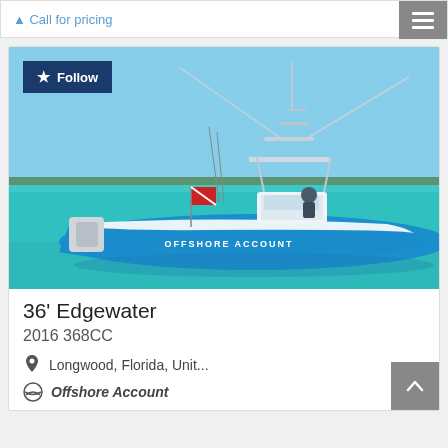Call for pricing
[Figure (photo): A blue center console sport fishing boat named 'Offshore Account' on clear turquoise water with a tropical island in the background. The boat has outriggers, fishing rods, and a T-top. A Follow button overlay is visible in the top-left corner of the image.]
36' Edgewater
2016 368CC
Longwood, Florida, Unit...
Offshore Account